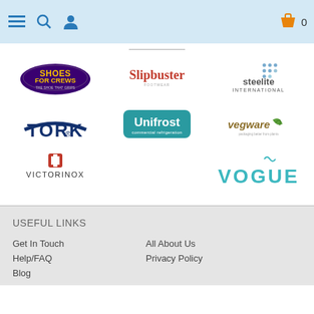Navigation bar with menu, search, profile icons and cart
[Figure (logo): Shoes For Crews logo - yellow and purple oval with text]
[Figure (logo): Slipbuster logo - red serif text]
[Figure (logo): Steelite International logo with dots grid]
[Figure (logo): TORK logo - dark blue bold text with wave]
[Figure (logo): Unifrost commercial refrigeration logo - teal rounded rectangle]
[Figure (logo): vegware logo - green text with leaf]
[Figure (logo): Victorinox logo - red Swiss cross and text]
[Figure (logo): VOGUE logo - teal stylized text with steam]
USEFUL LINKS
Get In Touch
All About Us
Help/FAQ
Privacy Policy
Blog